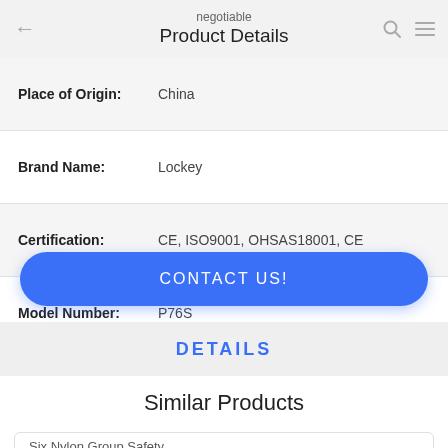negotiable Product Details
| Field | Value |
| --- | --- |
| Place of Origin: | China |
| Brand Name: | Lockey |
| Certification: | CE, ISO9001, OHSAS18001, CE |
| Model Number: | P76S |
CONTACT US!
DETAILS
Similar Products
Six Nylon Group Safety